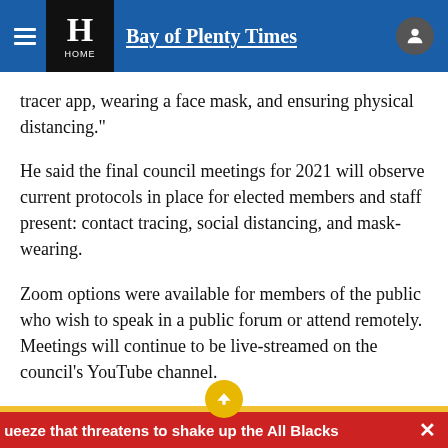Bay of Plenty Times
tracer app, wearing a face mask, and ensuring physical distancing."
He said the final council meetings for 2021 will observe current protocols in place for elected members and staff present: contact tracing, social distancing, and mask-wearing.
Zoom options were available for members of the public who wish to speak in a public forum or attend remotely. Meetings will continue to be live-streamed on the council's YouTube channel.
ueeze that threatens to shake up the All Blacks